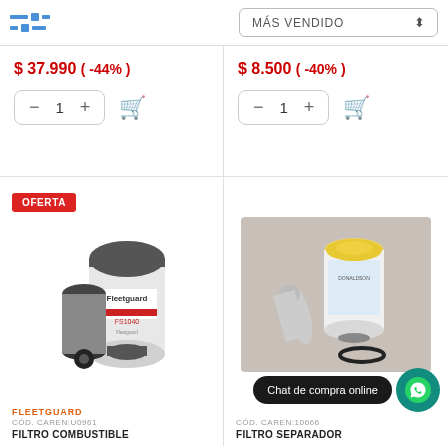MÁS VENDIDO
$ 37.990 ( -44% )
$ 8.500 ( -40% )
[Figure (photo): Fleetguard FS1040 fuel filter product photo with OFERTA badge]
[Figure (photo): Fuel separator filter product photo on grey background]
FLEETGUARD
CÓD. CAREN:U0961
FILTRO COMBUSTIBLE
CÓD. CAREN:10666
FILTRO SEPARADOR
Chat de compra online